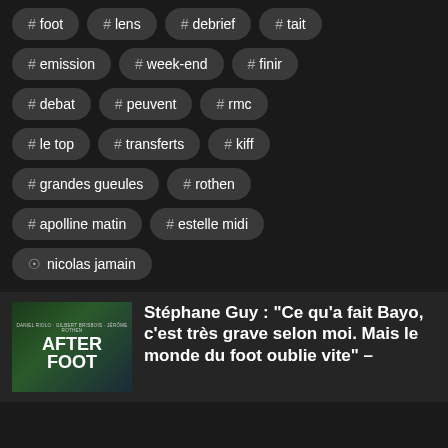# foot
# lens
# debrief
# tait
# emission
# week-end
# finir
# debat
# peuvent
# rmc
# le top
# transferts
# kiff
# grandes gueules
# rothen
# apolline matin
# estelle midi
nicolas jamain
[Figure (photo): After Foot show thumbnail with three men and green/dark background]
Stéphane Guy : "Ce qu'a fait Bayo, c'est très grave selon moi. Mais le monde du foot oublie vite" –